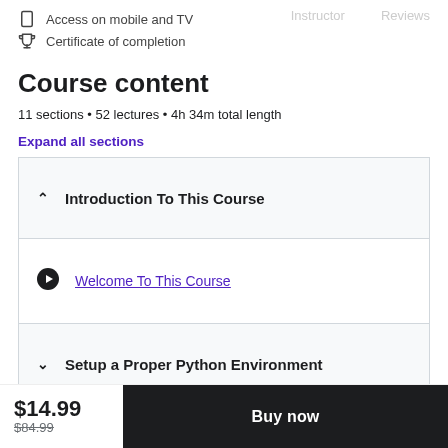Access on mobile and TV
Certificate of completion
Course content
11 sections • 52 lectures • 4h 34m total length
Expand all sections
Introduction To This Course
Welcome To This Course
Setup a Proper Python Environment
$14.99
$84.99
Buy now